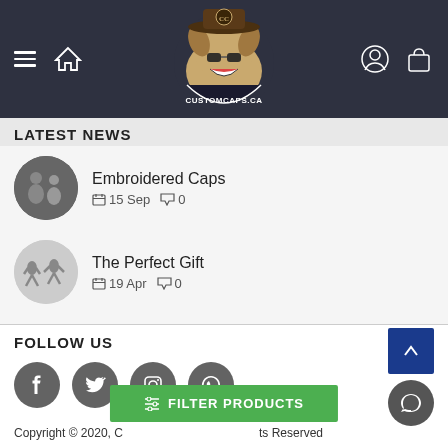[Figure (logo): CustomCaps.ca website header with logo (cartoon dog in cowboy hat), hamburger menu, home icon, account icon, and bag icon on dark navy background]
LATEST NEWS
Embroidered Caps
📅 15 Sep  💬 0
The Perfect Gift
📅 19 Apr  💬 0
FOLLOW US
[Figure (illustration): Social media icons: Facebook, Twitter, Instagram, WhatsApp in dark grey circles]
FILTER PRODUCTS
Copyright © 2020, C... ts Reserved